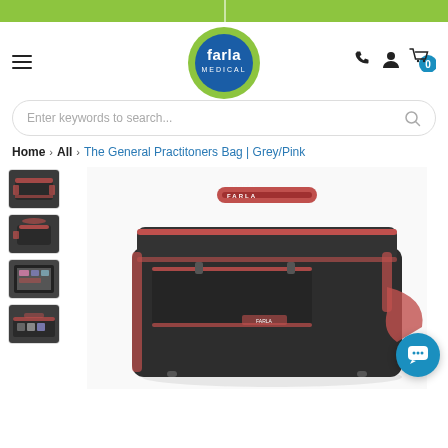[Figure (logo): Farla Medical logo – circular badge with blue center and green border, white text 'farla MEDICAL']
Enter keywords to search...
Home > All > The General Practitoners Bag | Grey/Pink
[Figure (photo): Grey and pink/red General Practitioners medical bag – large main product image showing a dark grey medical bag with pink/red straps and trim, front zipper pockets, shoulder strap]
[Figure (photo): Thumbnail 1: small view of GP bag from front angle]
[Figure (photo): Thumbnail 2: small view of GP bag from side/top angle]
[Figure (photo): Thumbnail 3: open GP bag showing interior with medical supplies]
[Figure (photo): Thumbnail 4: partial view of GP bag contents/detail]